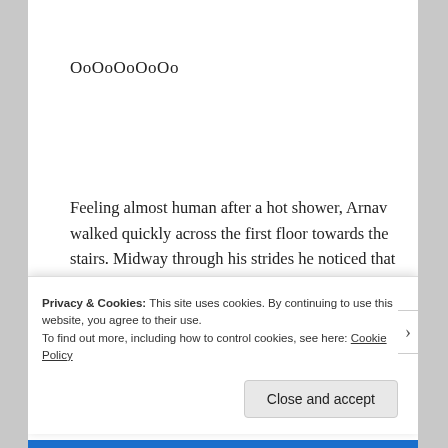OoOoOoOoOo
Feeling almost human after a hot shower, Arnav walked quickly across the first floor towards the stairs. Midway through his strides he noticed that he had left his cell phone in his room. He should go back to retrieve it, he was sure he should. What if
Privacy & Cookies: This site uses cookies. By continuing to use this website, you agree to their use.
To find out more, including how to control cookies, see here: Cookie Policy
Close and accept